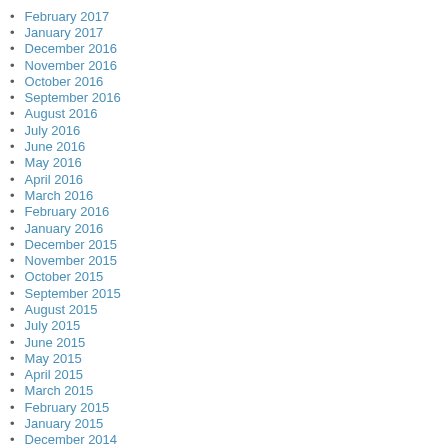February 2017
January 2017
December 2016
November 2016
October 2016
September 2016
August 2016
July 2016
June 2016
May 2016
April 2016
March 2016
February 2016
January 2016
December 2015
November 2015
October 2015
September 2015
August 2015
July 2015
June 2015
May 2015
April 2015
March 2015
February 2015
January 2015
December 2014